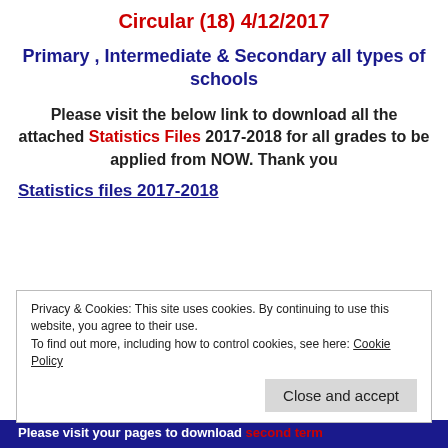Circular (18) 4/12/2017
Primary , Intermediate & Secondary all types of schools
Please visit the below link to download all the attached Statistics Files 2017-2018 for all grades to be applied from NOW. Thank you
Statistics files 2017-2018
Privacy & Cookies: This site uses cookies. By continuing to use this website, you agree to their use.
To find out more, including how to control cookies, see here: Cookie Policy
Close and accept
Please visit your pages to download second term